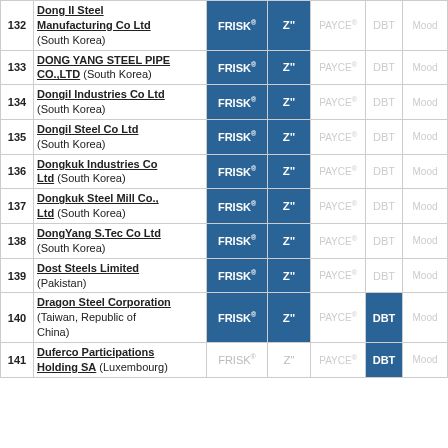| # | Company | FRISK® | Z" | PAYCE® | DBT | Mood |
| --- | --- | --- | --- | --- | --- | --- |
| 132 | Dong II Steel Manufacturing Co Ltd (South Korea) | FRISK® | Z" | PAYCE® | DBT | Mood |
| 133 | DONG YANG STEEL PIPE CO.,LTD (South Korea) | FRISK® | Z" | PAYCE® | DBT | Mood |
| 134 | Dongil Industries Co Ltd (South Korea) | FRISK® | Z" | PAYCE® | DBT | Mood |
| 135 | Dongil Steel Co Ltd (South Korea) | FRISK® | Z" | PAYCE® | DBT | Mood |
| 136 | Dongkuk Industries Co Ltd (South Korea) | FRISK® | Z" | PAYCE® | DBT | Mood |
| 137 | Dongkuk Steel Mill Co., Ltd (South Korea) | FRISK® | Z" | PAYCE® | DBT | Mood |
| 138 | DongYang S.Tec Co Ltd (South Korea) | FRISK® | Z" | PAYCE® | DBT | Mood |
| 139 | Dost Steels Limited (Pakistan) | FRISK® | Z" | PAYCE® | DBT | Mood |
| 140 | Dragon Steel Corporation (Taiwan, Republic of China) | FRISK® | Z" | PAYCE® | DBT (active) | Mood |
| 141 | Duferco Participations Holding SA (Luxembourg) | FRISK® | Z" | PAYCE® | DBT (active) | Mood |